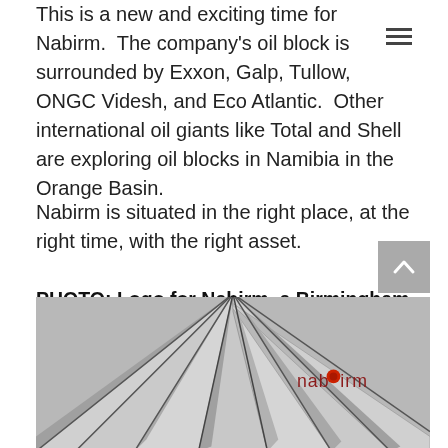This is a new and exciting time for Nabirm. The company's oil block is surrounded by Exxon, Galp, Tullow, ONGC Videsh, and Eco Atlantic. Other international oil giants like Total and Shell are exploring oil blocks in Namibia in the Orange Basin.
Nabirm is situated in the right place, at the right time, with the right asset.
PHOTO: Logo for Nabirm, a Birmingham and Namibian based energy services company.
[Figure (photo): Black and white photograph of steel pipes arranged in parallel, viewed from an angle, with the Nabirm logo overlaid in the lower right corner.]